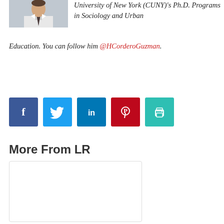[Figure (photo): Headshot photo of a man in a suit and tie, cropped to show upper body]
University of New York (CUNY)'s Ph.D. Programs in Sociology and Urban Education. You can follow him @HCorderoGuzman.
[Figure (infographic): Row of five social sharing buttons: Facebook (dark blue, f icon), Twitter (light blue, bird icon), LinkedIn (teal-blue, in icon), Pinterest (red, P icon), Print (teal, printer icon)]
More From LR
[Figure (other): Blank white card/image placeholder with light border]